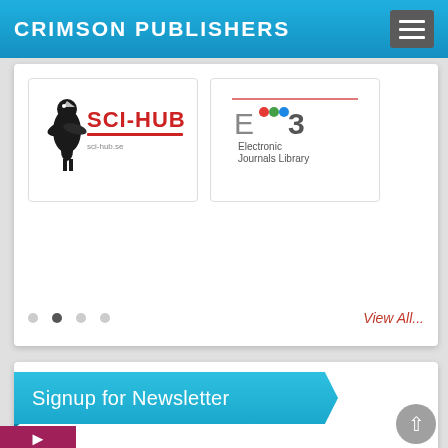CRIMSON PUBLISHERS
[Figure (screenshot): SCI-HUB indexing logo with black bird and red text]
[Figure (screenshot): EZB Electronic Journals Library logo with colored dots]
View All...
[Figure (infographic): Signup for Newsletter banner with blue ribbon header and newsletter signup graphic showing envelope with @ symbol and text SIGN UP FOR OUR e-NEWSLETTER]
e-Pub
PDF